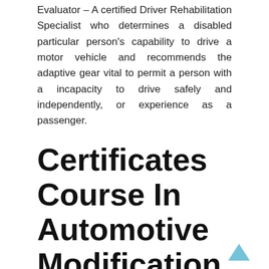Evaluator – A certified Driver Rehabilitation Specialist who determines a disabled particular person's capability to drive a motor vehicle and recommends the adaptive gear vital to permit a person with a incapacity to drive safely and independently, or experience as a passenger.
Certificates Course In Automotive Modification
Automobiles shouldn't solely be made for the traditional street as there are nonetheless a number of places with only off-street terrains. Computerized door openers are any powered system which open and close vehicle doorways to